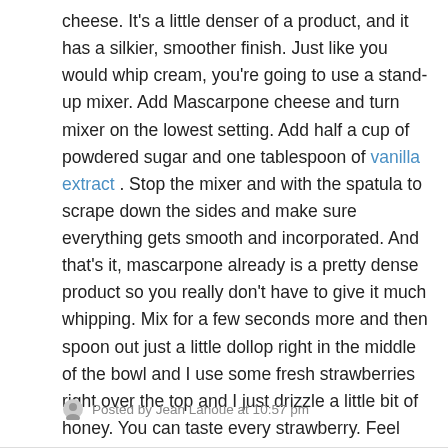cheese. It's a little denser of a product, and it has a silkier, smoother finish. Just like you would whip cream, you're going to use a stand-up mixer. Add Mascarpone cheese and turn mixer on the lowest setting. Add half a cup of powdered sugar and one tablespoon of vanilla extract . Stop the mixer and with the spatula to scrape down the sides and make sure everything gets smooth and incorporated. And that's it, mascarpone already is a pretty dense product so you really don't have to give it much whipping. Mix for a few seconds more and then spoon out just a little dollop right in the middle of the bowl and I use some fresh strawberries right over the top and I just drizzle a little bit of honey. You can taste every strawberry. Feel free to substitute other berries.
Posted by Jean Lanoue at 10:57 pm